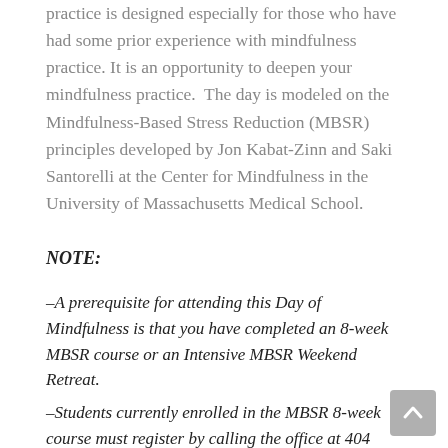practice is designed especially for those who have had some prior experience with mindfulness practice. It is an opportunity to deepen your mindfulness practice. The day is modeled on the Mindfulness-Based Stress Reduction (MBSR) principles developed by Jon Kabat-Zinn and Saki Santorelli at the Center for Mindfulness in the University of Massachusetts Medical School.
NOTE:
–A prerequisite for attending this Day of Mindfulness is that you have completed an 8-week MBSR course or an Intensive MBSR Weekend Retreat.
–Students currently enrolled in the MBSR 8-week course must register by calling the office at 404